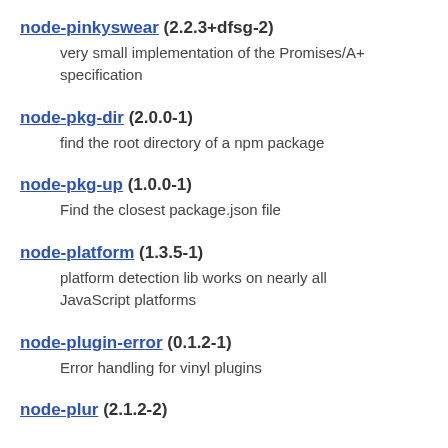node-pinkyswear (2.2.3+dfsg-2) — very small implementation of the Promises/A+ specification
node-pkg-dir (2.0.0-1) — find the root directory of a npm package
node-pkg-up (1.0.0-1) — Find the closest package.json file
node-platform (1.3.5-1) — platform detection lib works on nearly all JavaScript platforms
node-plugin-error (0.1.2-1) — Error handling for vinyl plugins
node-plur (2.1.2-2)